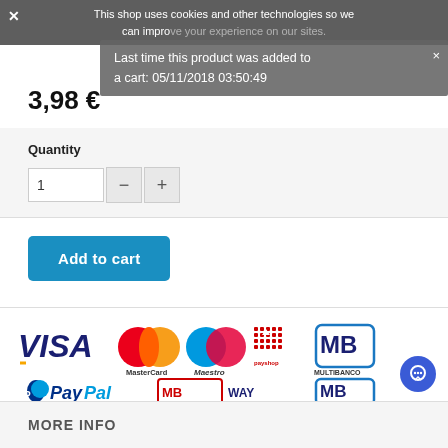This shop uses cookies and other technologies so we can improve your experience on our sites.
Last time this product was added to a cart: 05/11/2018 03:50:49
3,98 €
Quantity
1
Add to cart
[Figure (logo): Payment method logos: VISA, MasterCard, Maestro, payshop, MB (Multibanco), PayPal, MB WAY]
MORE INFO